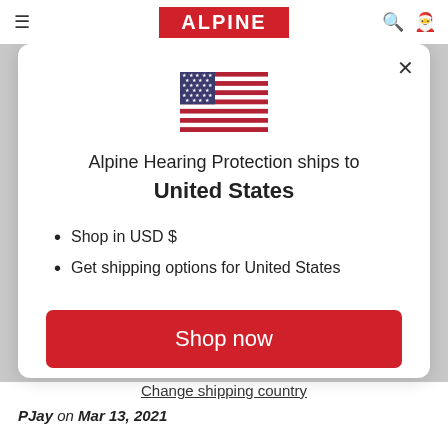ALPINE
[Figure (illustration): US flag emoji/icon]
Alpine Hearing Protection ships to United States
Shop in USD $
Get shipping options for United States
Shop now
Change shipping country
PJay on Mar 13, 2021